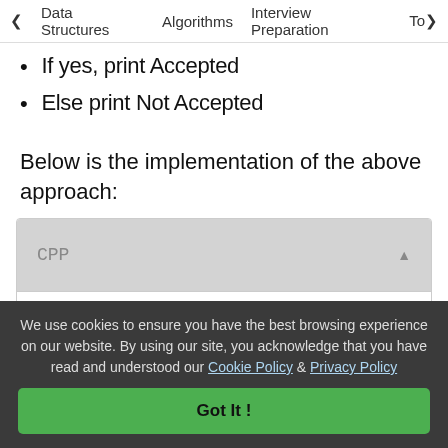< Data Structures   Algorithms   Interview Preparation   To>
If yes, print Accepted
Else print Not Accepted
Below is the implementation of the above approach:
[Figure (screenshot): Code block with CPP tab selected and code: // C++ program to accept String // starting with Vowel]
We use cookies to ensure you have the best browsing experience on our website. By using our site, you acknowledge that you have read and understood our Cookie Policy & Privacy Policy